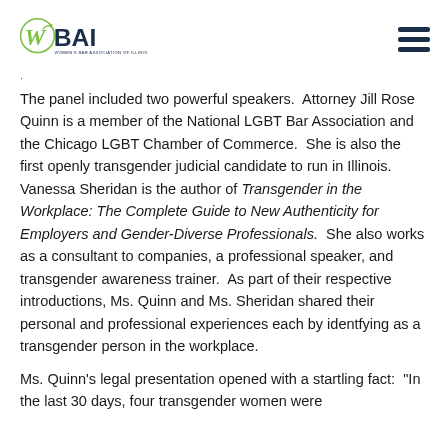WBAI - Women's Bar Association of Illinois
The panel included two powerful speakers.  Attorney Jill Rose Quinn is a member of the National LGBT Bar Association and the Chicago LGBT Chamber of Commerce.  She is also the first openly transgender judicial candidate to run in Illinois.  Vanessa Sheridan is the author of Transgender in the Workplace: The Complete Guide to New Authenticity for Employers and Gender-Diverse Professionals.  She also works as a consultant to companies, a professional speaker, and transgender awareness trainer.  As part of their respective introductions, Ms. Quinn and Ms. Sheridan shared their personal and professional experiences each by identfying as a transgender person in the workplace.
Ms. Quinn's legal presentation opened with a startling fact:  "In the last 30 days, four transgender women were